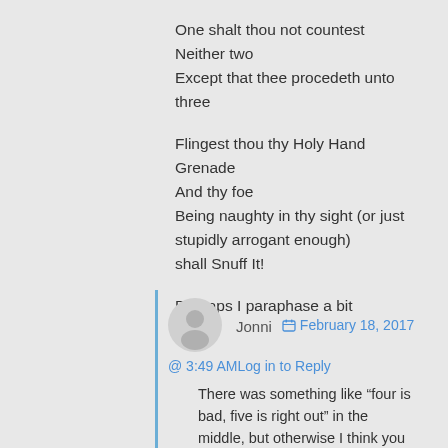One shalt thou not countest
Neither two
Except that thee procedeth unto three

Flingest thou thy Holy Hand Grenade
And thy foe
Being naughty in thy sight (or just stupidly arrogant enough)
shall Snuff It!

Perhaps I paraphase a bit
Jonni  February 18, 2017
@ 3:49 AM  Log in to Reply

There was something like “four is bad, five is right out” in the middle, but otherwise I think you nailed it.